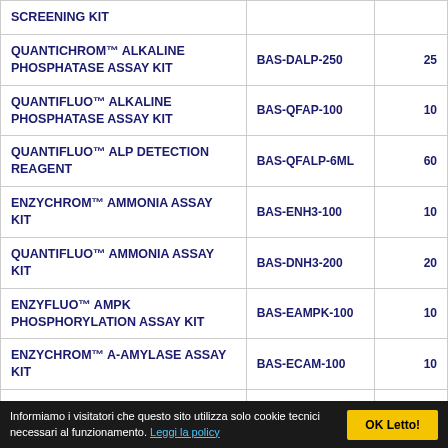| Product | Catalog # | Tests |
| --- | --- | --- |
| SCREENING KIT |  |  |
| QUANTICHROM™ ALKALINE PHOSPHATASE ASSAY KIT | BAS-DALP-250 | 25 |
| QUANTIFLUO™ ALKALINE PHOSPHATASE ASSAY KIT | BAS-QFAP-100 | 10 |
| QUANTIFLUO™ ALP DETECTION REAGENT | BAS-QFALP-6ML | 60 |
| ENZYCHROM™ AMMONIA ASSAY KIT | BAS-ENH3-100 | 10 |
| QUANTIFLUO™ AMMONIA ASSAY KIT | BAS-DNH3-200 | 20 |
| ENZYFLUO™ AMPK PHOSPHORYLATION ASSAY KIT | BAS-EAMPK-100 | 10 |
| ENZYCHROM™ A-AMYLASE ASSAY KIT | BAS-ECAM-100 | 10 |
| QUANTICHROM™ ANTIOXIDANT ASSAY KIT | BAS-DTAC-100 | 10 |
Informiamo i visitatori che questo sito utilizza solo cookie tecnici necessari al funzionamento. Leggi la policy